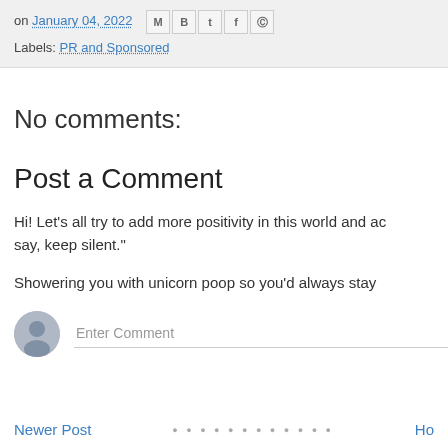on January 04, 2022  [share icons: M B t f p]
Labels: PR and Sponsored
No comments:
Post a Comment
Hi! Let's all try to add more positivity in this world and a... say, keep silent."
Showering you with unicorn poop so you'd always stay ...
Enter Comment
Newer Post · · · · · · · · · · · · · Ho